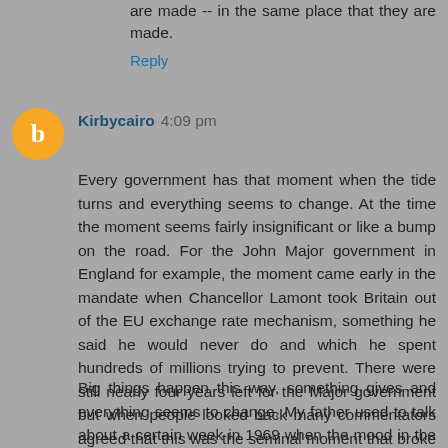are made -- in the same place that they are made.
Reply
Kirbycairo 4:09 pm
Every government has that moment when the tide turns and everything seems to change. At the time the moment seems fairly insignificant or like a bump on the road. For the John Major government in England for example, the moment came early in the mandate when Chancellor Lamont took Britain out of the EU exchange rate mechanism, something he said he would never do and which he spent hundreds of millions trying to prevent. There were still nearly four years left for the Major government but when people looked back many commentators agreed that this was the seminal moment that broke the government's back.
Big things happen this way, something gives and everything seems to change. My father used to talk about a certain week in 1969 when the mood in the US economy